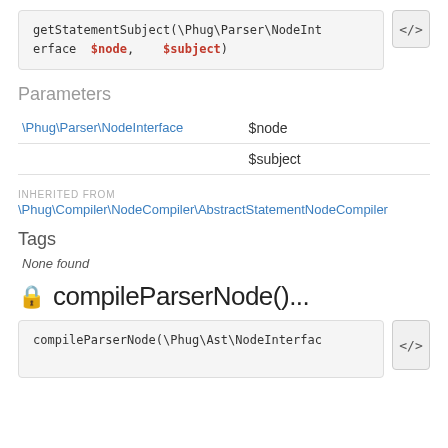getStatementSubject(\Phug\Parser\NodeInterface $node, $subject)
Parameters
|  |  |
| --- | --- |
| \Phug\Parser\NodeInterface | $node |
|  | $subject |
INHERITED FROM
\Phug\Compiler\NodeCompiler\AbstractStatementNodeCompiler
Tags
None found
🔒 compileParserNode()...
compileParserNode(\Phug\Ast\NodeInterfac